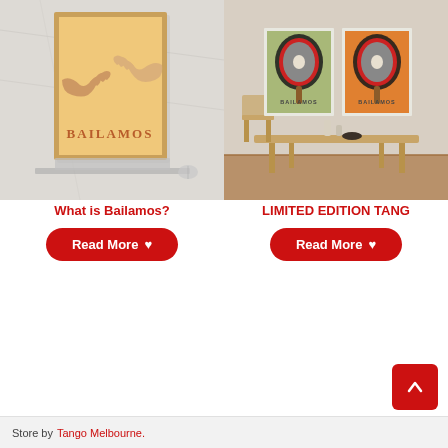[Figure (photo): Left card: A framed BAILAMOS poster with hand silhouettes on a warm yellow/peach background, displayed on a marble surface with a laptop visible below.]
What is Bailamos?
Read More ♥
[Figure (photo): Right card: A room interior with a wooden dining table and chairs, featuring two framed Bailamos table tennis prints on the wall (one green, one orange background).]
LIMITED EDITION TANG
Read More ♥
Store by Tango Melbourne.